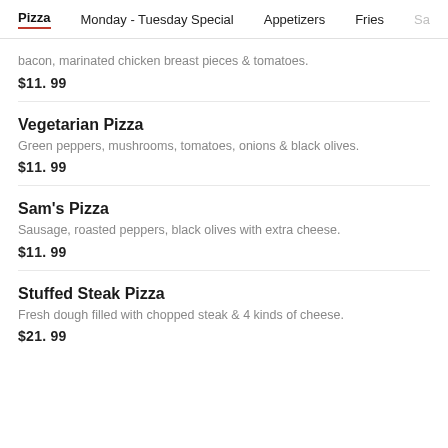Pizza | Monday - Tuesday Special | Appetizers | Fries | Sa
bacon, marinated chicken breast pieces & tomatoes.
$11.99
Vegetarian Pizza
Green peppers, mushrooms, tomatoes, onions & black olives.
$11.99
Sam's Pizza
Sausage, roasted peppers, black olives with extra cheese.
$11.99
Stuffed Steak Pizza
Fresh dough filled with chopped steak & 4 kinds of cheese.
$21.99